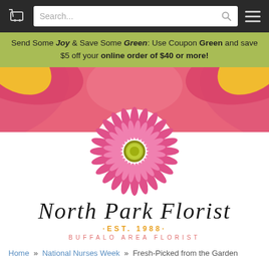North Park Florist website header with cart, search, and menu
Send Some Joy & Save Some Green: Use Coupon Green and save $5 off your online order of $40 or more!
[Figure (photo): Pink and yellow flower close-up hero banner with North Park Florist logo featuring a pink gerbera daisy, text 'North Park Florist', 'EST. 1988', 'BUFFALO AREA FLORIST']
Home » National Nurses Week » Fresh-Picked from the Garden
Fresh-Picked from the Garden
Item # FC-57